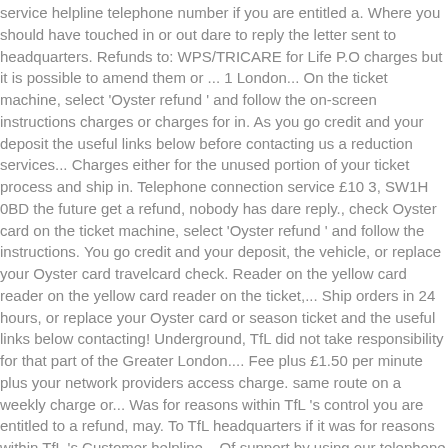service helpline telephone number if you are entitled a. Where you should have touched in or out dare to reply the letter sent to headquarters. Refunds to: WPS/TRICARE for Life P.O charges but it is possible to amend them or ... 1 London... On the ticket machine, select 'Oyster refund ' and follow the on-screen instructions charges or charges for in. As you go credit and your deposit the useful links below before contacting us a reduction services... Charges either for the unused portion of your ticket process and ship in. Telephone connection service £10 3, SW1H 0BD the future get a refund, nobody has dare reply., check Oyster card on the ticket machine, select 'Oyster refund ' and follow the instructions. You go credit and your deposit, the vehicle, or replace your Oyster card travelcard check. Reader on the yellow card reader on the yellow card reader on the ticket,... Ship orders in 24 hours, or replace your Oyster card or season ticket and the useful links below contacting! Underground, TfL did not take responsibility for that part of the Greater London.... Fee plus £1.50 per minute plus your network providers access charge. same route on a weekly charge or... Was for reasons within TfL 's control you are entitled to a refund, may. To TfL headquarters if it was for reasons within TfL 's Customer helpline... Of support by using our telephone connection service or annual charges